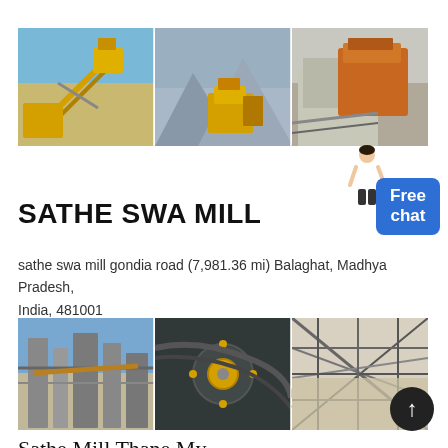[Figure (photo): Three-panel banner showing mining/crushing equipment: conveyor belts, yellow crushers, and orange heavy machinery at industrial sites]
[Figure (illustration): Customer service representative figure pointing at chat bubble]
Free chat
SATHE SWA MILL
sathe swa mill gondia road (7,981.36 mi) Balaghat, Madhya Pradesh, India, 481001
[Figure (photo): Three-panel image showing industrial mining/milling facility: plant structure, machinery close-up, and conveyor/structural steel]
↑
Sathe Mill Thane My